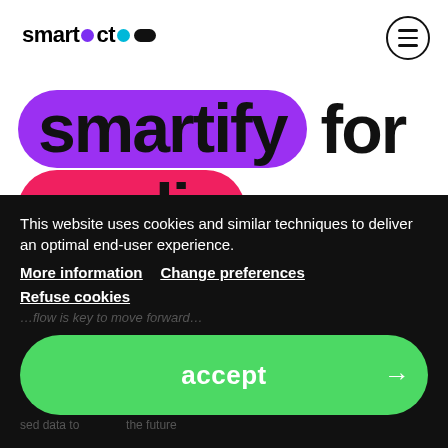[Figure (logo): smartocto logo with purple dot, cyan dot, and dark pill shape]
smartify for media companies
This website uses cookies and similar techniques to deliver an optimal end-user experience.
More information
Change preferences
Refuse cookies
accept